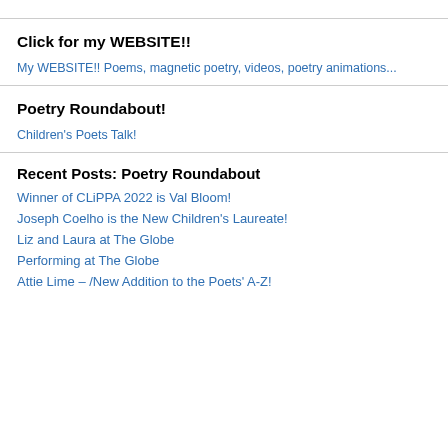Click for my WEBSITE!!
My WEBSITE!! Poems, magnetic poetry, videos, poetry animations...
Poetry Roundabout!
Children's Poets Talk!
Recent Posts: Poetry Roundabout
Winner of CLiPPA 2022 is Val Bloom!
Joseph Coelho is the New Children's Laureate!
Liz and Laura at The Globe
Performing at The Globe
Attie Lime – /New Addition to the Poets' A-Z!